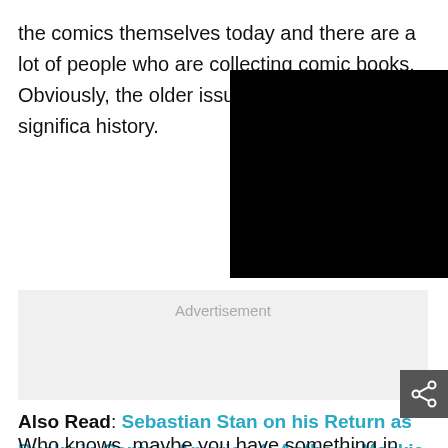the comics themselves today and there are a lot of people who are collecting comic books. Obviously, the older issues especially if it has significant history.
[Figure (other): Black rectangle overlay covering right portion of text]
Advertisement
[Figure (other): Share icon button (dark grey background with share/network icon)]
Also Read: Sebastian Stan on his Return as Bucky in Captain America 4: Anthony Mackie May Keep Him Out of the Movie
Who knows, maybe you have something in your